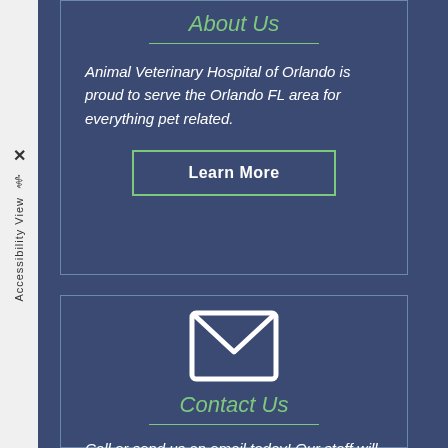About Us
Animal Veterinary Hospital of Orlando is proud to serve the Orlando FL area for everything pet related.
Learn More
[Figure (illustration): Envelope icon (outline, white lines) for contact section]
Contact Us
Call or send us an email today! Our staff will respond as soon